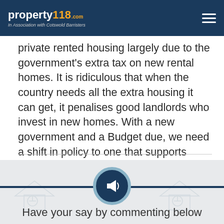property118.com — In Association with Cotswold Barristers
private rented housing largely due to the government’s extra tax on new rental homes. It is ridiculous that when the country needs all the extra housing it can get, it penalises good landlords who invest in new homes. With a new government and a Budget due, we need a shift in policy to one that supports investment because otherwise there will be a growing supply crisis in the private rented sector as demand continues to rise."
[Figure (infographic): Circular megaphone/announcement icon in dark teal circle with light blue border, centered on a horizontal dark teal banner line, against a light grey background with faint house watermark graphics]
Have your say by commenting below